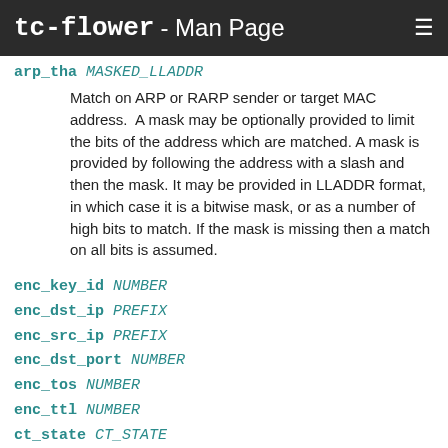tc-flower - Man Page
arp_tha MASKED_LLADDR
Match on ARP or RARP sender or target MAC address. A mask may be optionally provided to limit the bits of the address which are matched. A mask is provided by following the address with a slash and then the mask. It may be provided in LLADDR format, in which case it is a bitwise mask, or as a number of high bits to match. If the mask is missing then a match on all bits is assumed.
enc_key_id NUMBER
enc_dst_ip PREFIX
enc_src_ip PREFIX
enc_dst_port NUMBER
enc_tos NUMBER
enc_ttl NUMBER
ct_state CT_STATE
ct_zone CT_MASKED_ZONE
ct_mark CT_MASKED_MARK
ct_label CT_MASKED_LABEL